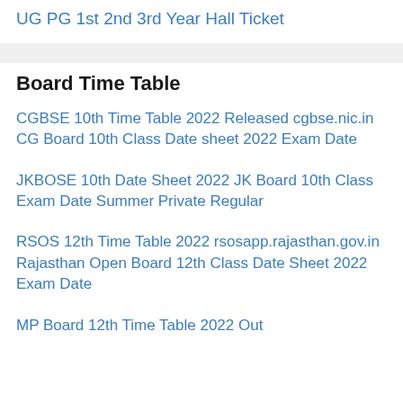UG PG 1st 2nd 3rd Year Hall Ticket
Board Time Table
CGBSE 10th Time Table 2022 Released cgbse.nic.in CG Board 10th Class Date sheet 2022 Exam Date
JKBOSE 10th Date Sheet 2022 JK Board 10th Class Exam Date Summer Private Regular
RSOS 12th Time Table 2022 rsosapp.rajasthan.gov.in Rajasthan Open Board 12th Class Date Sheet 2022 Exam Date
MP Board 12th Time Table 2022 Out